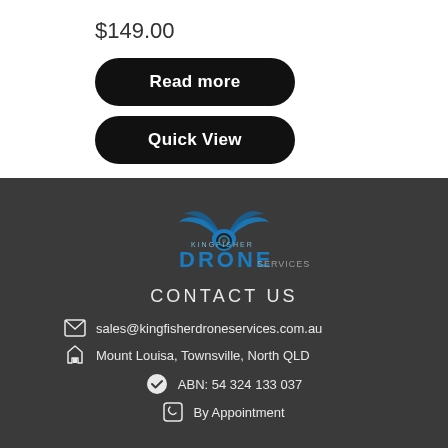$149.00
Read more
Quick View
[Figure (logo): Kingfisher Drone Services logo with blue bird and drone imagery]
CONTACT US
sales@kingfisherdroneservices.com.au
Mount Louisa, Townsville, North QLD
ABN: 54 324 133 037
By Appointment